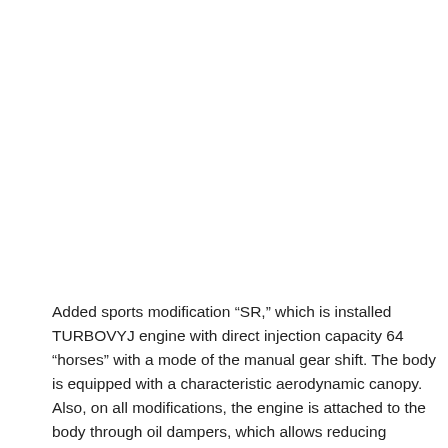Added sports modification “SR,” which is installed TURBOVYJ engine with direct injection capacity 64 “horses” with a mode of the manual gear shift. The body is equipped with a characteristic aerodynamic canopy. Also, on all modifications, the engine is attached to the body through oil dampers, which allows reducing vibration. Improved